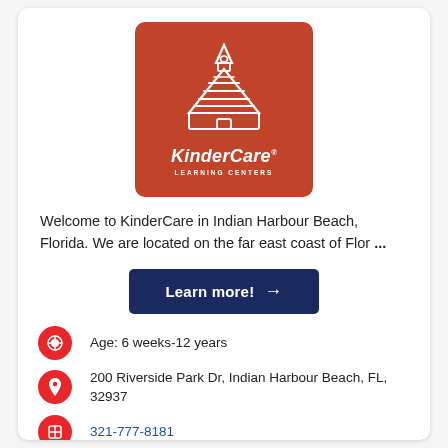[Figure (logo): KinderCare Learning Centers logo — white illustration of a school building/pyramid on a red-orange rounded rectangle background, with 'KinderCare' in italic white text and 'LEARNING CENTERS' in white small caps below]
Welcome to KinderCare in Indian Harbour Beach, Florida. We are located on the far east coast of Flor ...
Learn more! →
Age: 6 weeks-12 years
200 Riverside Park Dr, Indian Harbour Beach, FL, 32937
321-777-8181
care@kindercare.com